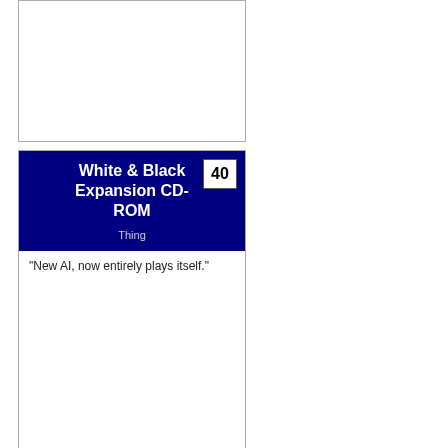[Figure (other): Empty card frame at top left]
[Figure (illustration): Product card for White & Black Expansion CD-ROM, labeled Thing, number 40]
"New AI, now entirely plays itself."